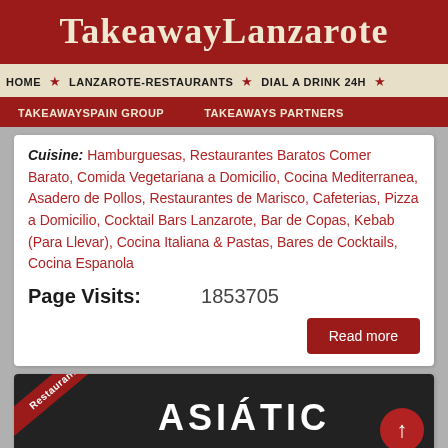TakeawayLanzarote
HOME ★ LANZAROTE-RESTAURANTS ★ DIAL A DRINK 24H ★
TAKEAWAYSPAIN GROUP   TAKEAWAYS PARTNERS
Cuisine: Hamburguesas, Restaurantes Baratos Comer Barato, Comida Vegetariana a Domicilio, Cocina Mediterranea, Asadero de Pollos, Restaurantes de Marisco, Cafeterias, Pizza a Domicilio, Cocktail Bars Lanzarote, Bar de Copas, Kebab (Para Llevar), Cocina Italiana & Pastas, Bares de Cocktails, Cocina Espanola
Page Visits:   1853705
Read more
[Figure (photo): Restaurant partner ribbon badge over dark background with ASIÁTICO text]